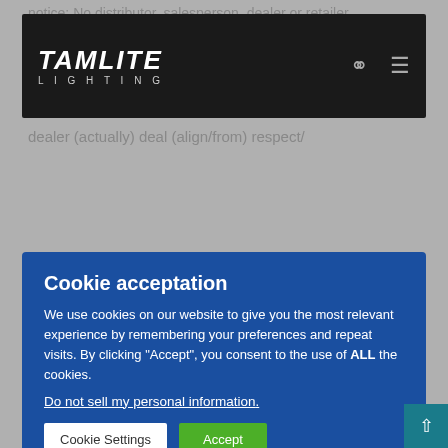Notice: No distributor, salesperson, dealer or retailer
[Figure (screenshot): Tamlite Lighting navigation bar with logo, search icon, and hamburger menu on dark background]
dealer (actually) deal (align/from) respect/
[Figure (screenshot): Cookie acceptation modal with blue background. Title: Cookie acceptation. Body: We use cookies on our website to give you the most relevant experience by remembering your preferences and repeat visits. By clicking "Accept", you consent to the use of ALL the cookies. Link: Do not sell my personal information. Buttons: Cookie Settings and Accept.]
the specification sheet, from the date of invoice.
Should any fixture fail to conform to this warranty during the warranty period, Tamlite Lighting Canada